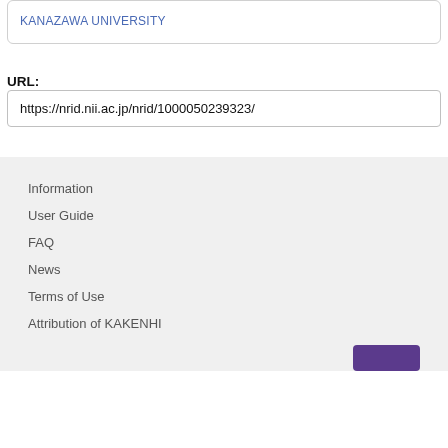KANAZAWA UNIVERSITY
URL:
https://nrid.nii.ac.jp/nrid/1000050239323/
Information
User Guide
FAQ
News
Terms of Use
Attribution of KAKENHI